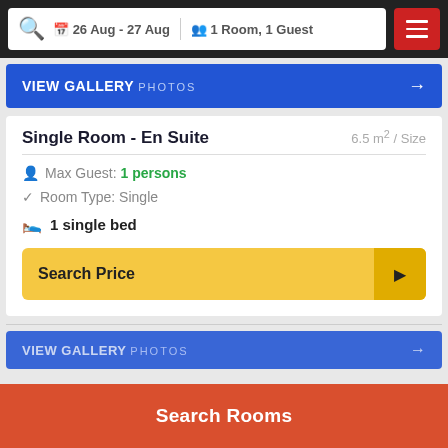26 Aug - 27 Aug  1 Room, 1 Guest
[Figure (screenshot): Blue gallery bar with VIEW GALLERY PHOTOS text and arrow]
Single Room - En Suite  6.5 m² / Size
Max Guest: 1 persons
Room Type: Single
1 single bed
Search Price
[Figure (screenshot): Blue gallery bar (partially visible) VIEW GALLERY PHOTOS with arrow]
Search Rooms